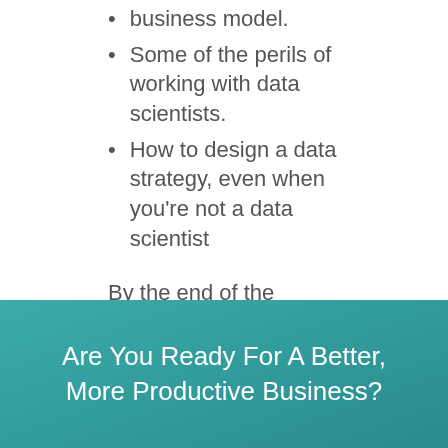business model.
Some of the perils of working with data scientists.
How to design a data strategy, even when you're not a data scientist
By the end of the program you will have an actionable plan which you can use to create a new business.
REGISTER NOW
Are You Ready For A Better, More Productive Business?